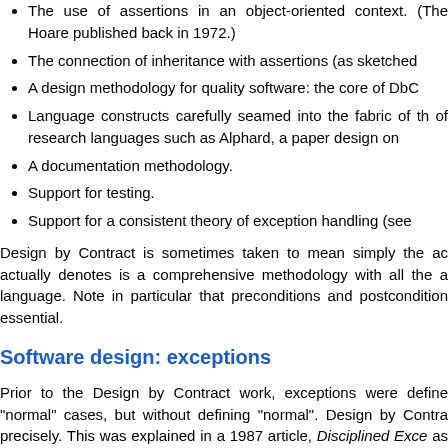The use of assertions in an object-oriented context. (The ... Hoare published back in 1972.)
The connection of inheritance with assertions (as sketched...
A design methodology for quality software: the core of DbC...
Language constructs carefully seamed into the fabric of th... of research languages such as Alphard, a paper design on...
A documentation methodology.
Support for testing.
Support for a consistent theory of exception handling (see...
Design by Contract is sometimes taken to mean simply the ac... actually denotes is a comprehensive methodology with all the a... language. Note in particular that preconditions and postcondition... essential.
Software design: exceptions
Prior to the Design by Contract work, exceptions were define... "normal" cases, but without defining "normal". Design by Contra... precisely. This was explained in a 1987 article, Disciplined Exce... as a technical report; they appear again in detail in OOSC1 (sect...